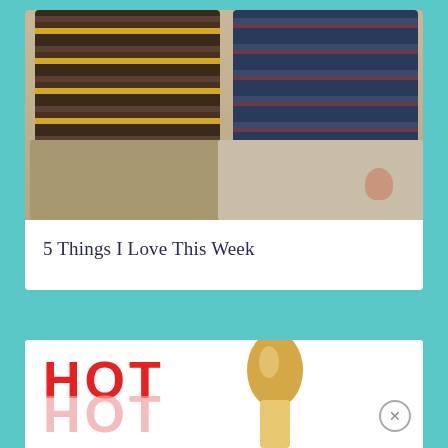[Figure (photo): Photo of two people sitting side by side on a couch, showing their laps and striped shirts — one in brown/gold stripes, one in blue/red stripes — with khaki/light pants visible.]
5 Things I Love This Week
[Figure (photo): Partial image showing bold red text 'HOT' with a pink reflection/shadow below it, and what appears to be a high-heel shoe shape to the right. A circular close/dismiss button (×) appears in the lower right corner.]